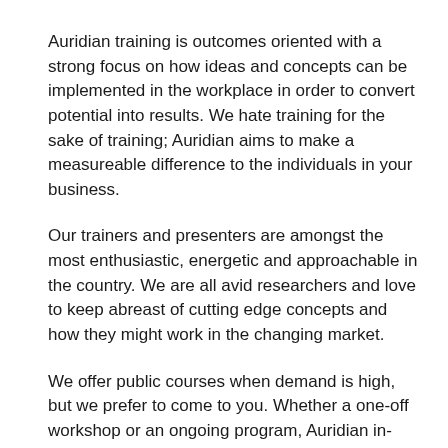Auridian training is outcomes oriented with a strong focus on how ideas and concepts can be implemented in the workplace in order to convert potential into results. We hate training for the sake of training; Auridian aims to make a measureable difference to the individuals in your business.
Our trainers and presenters are amongst the most enthusiastic, energetic and approachable in the country. We are all avid researchers and love to keep abreast of cutting edge concepts and how they might work in the changing market.
We offer public courses when demand is high, but we prefer to come to you. Whether a one-off workshop or an ongoing program, Auridian in-house training offers maximum involvement with minimum disruption.